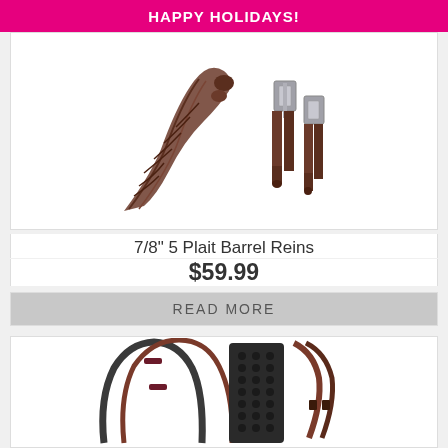HAPPY HOLIDAYS!
[Figure (photo): 7/8 inch 5 Plait Barrel Reins product photo showing braided leather reins with buckle hardware]
7/8" 5 Plait Barrel Reins
$59.99
READ MORE
[Figure (photo): Rubber grip reins product photo showing dark rubber reins with textured rubber grip pad and brown leather ends]